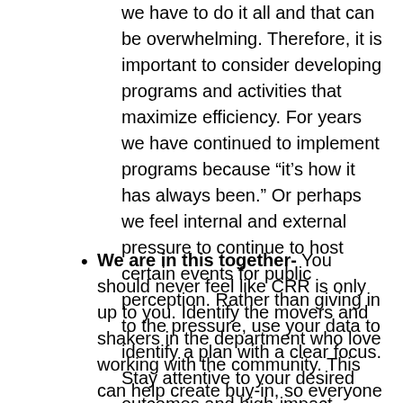we have to do it all and that can be overwhelming. Therefore, it is important to consider developing programs and activities that maximize efficiency. For years we have continued to implement programs because “it’s how it has always been.” Or perhaps we feel internal and external pressure to continue to host certain events for public perception. Rather than giving in to the pressure, use your data to identify a plan with a clear focus. Stay attentive to your desired outcomes and high-impact interventions rather than high-touch. Give yourself permission to start small.
We are in this together- You should never feel like CRR is only up to you. Identify the movers and shakers in the department who love working with the community. This can help create buy-in, so everyone knows their part in CRR. Of course, there is always going to be that 5-10% of a department that complains about CRR or pub ed, but don’t worry about them. CRR saves lives and what we are doing